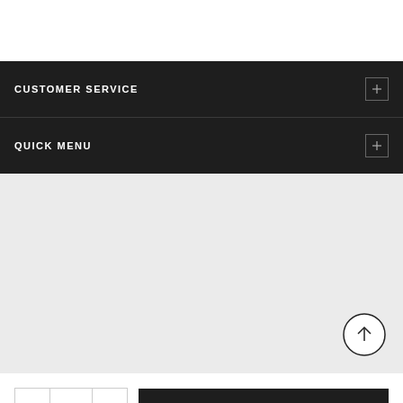CUSTOMER SERVICE
QUICK MENU
[Figure (other): Gray placeholder image area with a circular scroll-to-top button in the bottom right corner]
1  ADD TO CART